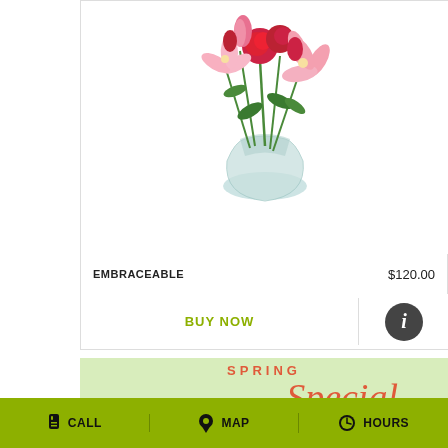[Figure (photo): Flower arrangement in a round glass vase with red roses, pink lilies, and green foliage]
EMBRACEABLE   $120.00
BUY NOW
[Figure (illustration): Spring Special promotional banner with light green background and coral/orange script text]
CALL   MAP   HOURS